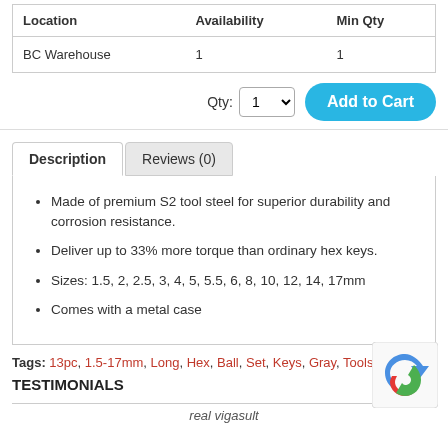| Location | Availability | Min Qty |
| --- | --- | --- |
| BC Warehouse | 1 | 1 |
Qty: 1  Add to Cart
Description | Reviews (0)
Made of premium S2 tool steel for superior durability and corrosion resistance.
Deliver up to 33% more torque than ordinary hex keys.
Sizes: 1.5, 2, 2.5, 3, 4, 5, 5.5, 6, 8, 10, 12, 14, 17mm
Comes with a metal case
Tags: 13pc, 1.5-17mm, Long, Hex, Ball, Set, Keys, Gray, Tools
TESTIMONIALS
real vigasult